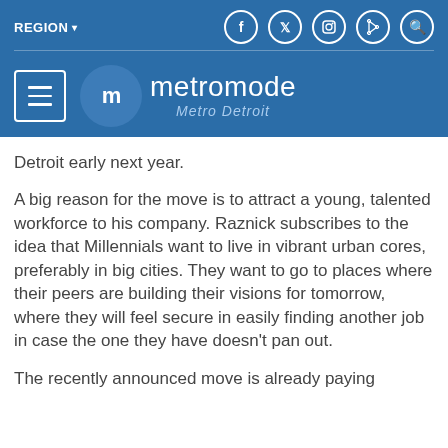REGION ▾  [social icons: facebook, twitter, instagram, rss, search]  mm metromode Metro Detroit
Detroit early next year.
A big reason for the move is to attract a young, talented workforce to his company. Raznick subscribes to the idea that Millennials want to live in vibrant urban cores, preferably in big cities. They want to go to places where their peers are building their visions for tomorrow, where they will feel secure in easily finding another job in case the one they have doesn't pan out.
The recently announced move is already paying dividends for Raznick. The company has already...